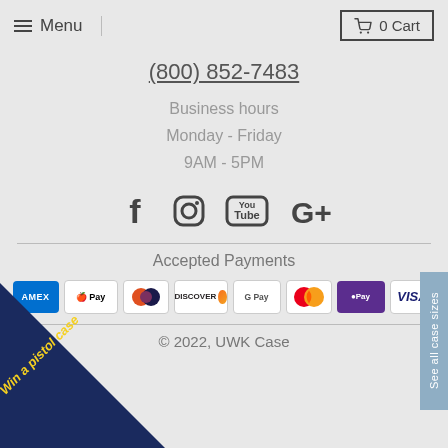Menu  |  0 Cart
(800) 852-7483
Business hours
Monday - Friday
9AM - 5PM
[Figure (illustration): Social media icons: Facebook, Instagram, YouTube, Google+]
Accepted Payments
[Figure (illustration): Payment method logos: AMEX, Apple Pay, Diners Club, Discover, Google Pay, Mastercard, Samsung Pay, Visa]
© 2022, UWK Case
[Figure (illustration): Side tab: See all case sizes]
[Figure (illustration): Promo triangle banner: Win a pistol case]